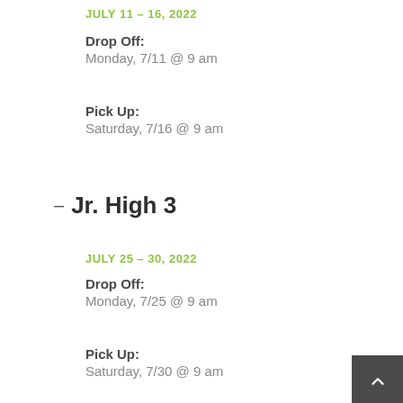JULY 11 – 16, 2022
Drop Off:
Monday, 7/11 @ 9 am
Pick Up:
Saturday, 7/16 @ 9 am
Jr. High 3
JULY 25 – 30, 2022
Drop Off:
Monday, 7/25 @ 9 am
Pick Up:
Saturday, 7/30 @ 9 am